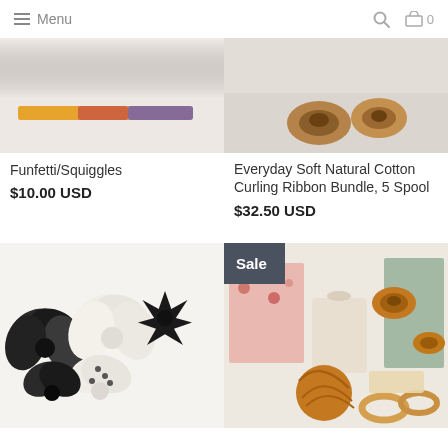Menu  🔍 🛒 0
[Figure (photo): Funfetti/Squiggles ribbon product image — colorful ribbon on white background]
Funfetti/Squiggles
$10.00 USD
[Figure (photo): Everyday Soft Natural Cotton Curling Ribbon Bundle, 5 Spool product image — wooden spools on light background]
Everyday Soft Natural Cotton Curling Ribbon Bundle, 5 Spool
$32.50 USD
[Figure (photo): Black and white decorative gift bows product image]
[Figure (photo): Natural cotton ribbon bundle with wooden rings and fabric — Sale item]